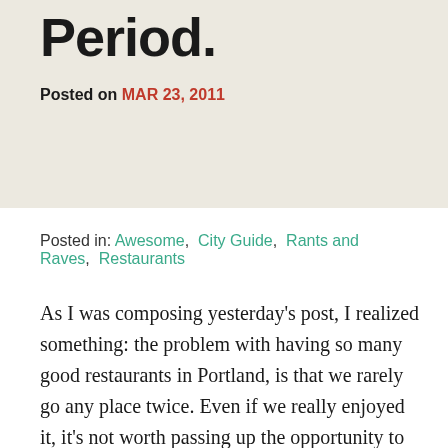Period.
Posted on MAR 23, 2011
Posted in: Awesome, City Guide, Rants and Raves, Restaurants
As I was composing yesterday's post, I realized something: the problem with having so many good restaurants in Portland, is that we rarely go any place twice. Even if we really enjoyed it, it's not worth passing up the opportunity to try a new place. Meals are an endless string of one night stands: You promise the pretty girl at the door – and yourself – that you will call again, but you